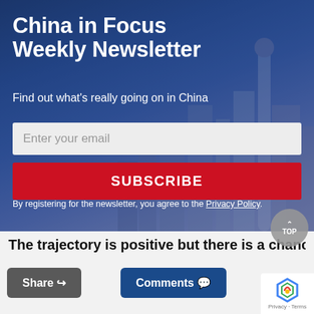[Figure (illustration): Hero banner with city skyline (Shanghai) background with blue overlay for newsletter signup]
China in Focus Weekly Newsletter
Find out what's really going on in China
Enter your email
SUBSCRIBE
By registering for the newsletter, you agree to the Privacy Policy.
The trajectory is positive but there is a chance the
Share
Comments
TOP
Privacy · Terms